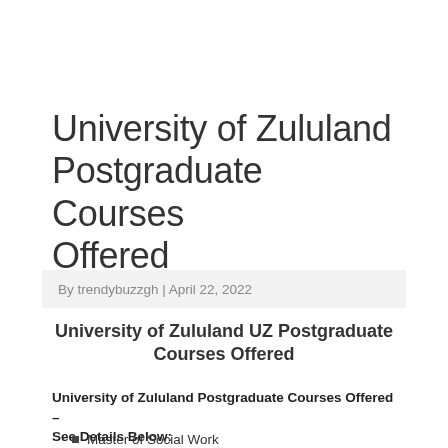University of Zululand Postgraduate Courses Offered
By trendybuzzgh | April 22, 2022
University of Zululand UZ Postgraduate Courses Offered
University of Zululand Postgraduate Courses Offered – See Details Below:
Master of Social Work